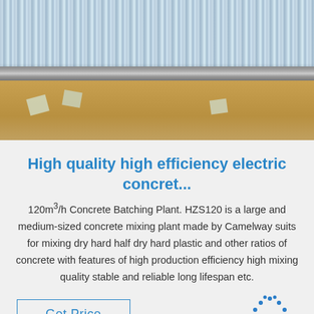[Figure (photo): Stacked metallic/aluminum sheets viewed from above on a brown/tan surface, with small white scrap pieces nearby]
High quality high efficiency electric concret...
120m³/h Concrete Batching Plant. HZS120 is a large and medium-sized concrete mixing plant made by Camelway suits for mixing dry hard half dry hard plastic and other ratios of concrete with features of high production efficiency high mixing quality stable and reliable long lifespan etc.
[Figure (logo): TOP logo with dotted arc above the word TOP in blue]
Get Price